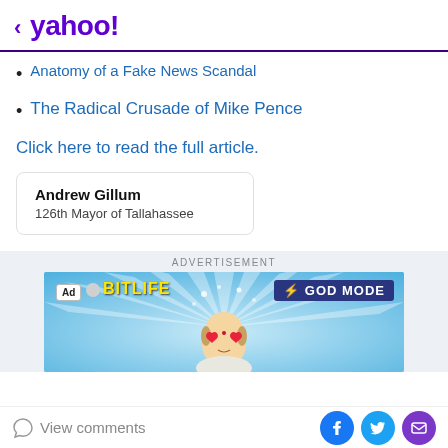< yahoo!
Anatomy of a Fake News Scandal
The Radical Crusade of Mike Pence
Click here to read the full article.
Andrew Gillum
126th Mayor of Tallahassee
[Figure (screenshot): BitLife advertisement banner with cartoon character with heart eyes, God Mode badge, on blue ray background]
View comments